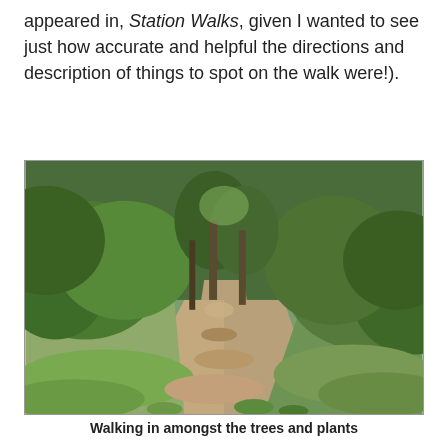appeared in, Station Walks, given I wanted to see just how accurate and helpful the directions and description of things to spot on the walk were!).
[Figure (photo): A winding dirt path through dense green woodland vegetation and trees.]
Walking in amongst the trees and plants